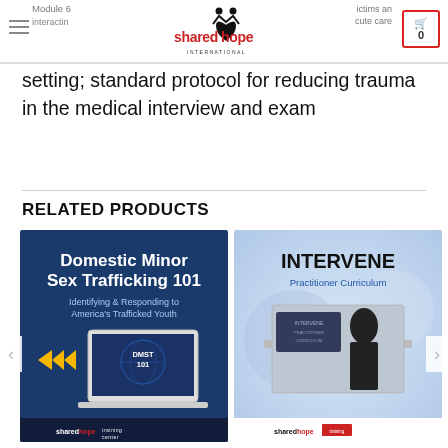Module 6 · interacting with victims and providing acute care setting; standard protocol for reducing trauma in the medical interview and exam
setting; standard protocol for reducing trauma in the medical interview and exam
RELATED PRODUCTS
[Figure (screenshot): Domestic Minor Sex Trafficking 101 – Identifying & Responding to America's Trafficked Youth, DMST 101 course image with laptop on dark blue background, shared hope training center logo]
[Figure (screenshot): INTERVENE Practitioner Curriculum course image with laptop showing a female figure on blurred background, shared hope training center logo]